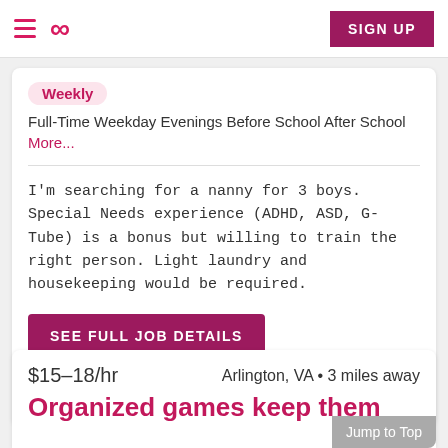≡ ∞ SIGN UP
Weekly
Full-Time Weekday Evenings Before School After School More...
I'm searching for a nanny for 3 boys. Special Needs experience (ADHD, ASD, G-Tube) is a bonus but willing to train the right person. Light laundry and housekeeping would be required.
SEE FULL JOB DETAILS
Posted by Jessica C. on 8/30/2022
Report job
$15–18/hr    Arlington, VA • 3 miles away
Jump to Top
Organized games keep them